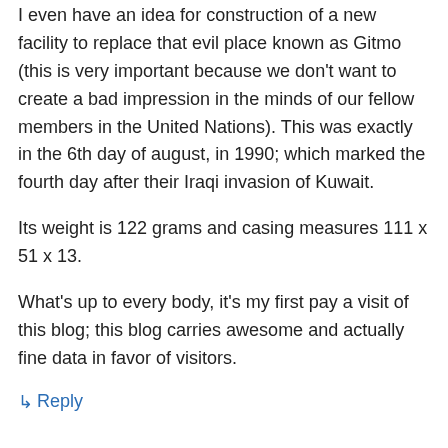I even have an idea for construction of a new facility to replace that evil place known as Gitmo (this is very important because we don't want to create a bad impression in the minds of our fellow members in the United Nations). This was exactly in the 6th day of august, in 1990; which marked the fourth day after their Iraqi invasion of Kuwait.
Its weight is 122 grams and casing measures 111 x 51 x 13.
What's up to every body, it's my first pay a visit of this blog; this blog carries awesome and actually fine data in favor of visitors.
↳ Reply